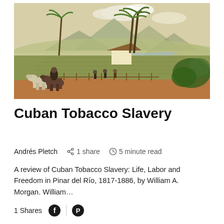[Figure (illustration): Historical illustration of a Cuban tobacco plantation scene with horses, workers in a field, a thatched-roof hut, palm trees, and mountains in the background. Warm earthy tones with green fields.]
Cuban Tobacco Slavery
Andrés Pletch   1 share   5 minute read
A review of Cuban Tobacco Slavery: Life, Labor and Freedom in Pinar del Río, 1817-1886, by William A. Morgan. William…
1 Shares [Facebook icon] [Pinterest icon]